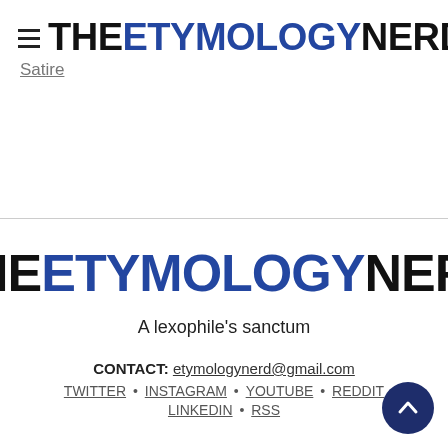THE ETYMOLOGY NERD
Satire
THE ETYMOLOGY NERD
A lexophile's sanctum
CONTACT: etymologynerd@gmail.com
TWITTER • INSTAGRAM • YOUTUBE • REDDIT • LINKEDIN • RSS